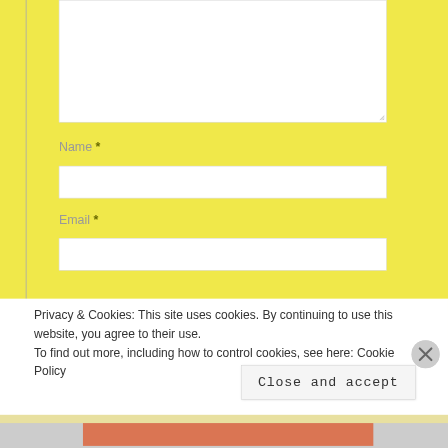[Figure (screenshot): Web form with yellow background showing a large textarea at the top, followed by Name and Email input fields with asterisk required markers. A cookie consent banner overlays the bottom portion of the page with text about Privacy & Cookies and a 'Close and accept' button.]
Name *
Email *
Privacy & Cookies: This site uses cookies. By continuing to use this website, you agree to their use.
To find out more, including how to control cookies, see here: Cookie Policy
Close and accept